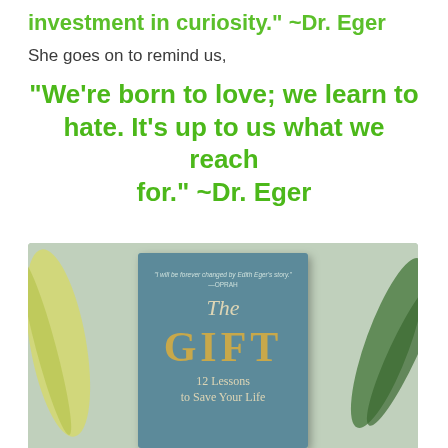investment in curiosity." ~Dr. Eger
She goes on to remind us,
"We're born to love; we learn to hate. It's up to us what we reach for." ~Dr. Eger
[Figure (photo): A photo of the book 'The Gift: 12 Lessons to Save Your Life' by Edith Eger, resting on a light green surface with plant leaves around it. The book cover is teal/blue with gold lettering. An Oprah endorsement quote appears at the top.]